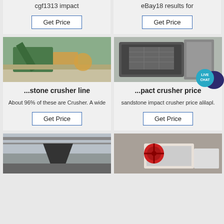cgf1313 impact
eBay18 results for
Get Price
Get Price
[Figure (photo): Stone crusher line machinery operating outdoors with green conveyor equipment and crushed stone piles]
[Figure (photo): Impact crusher machine indoors, dark industrial equipment on factory floor]
...stone crusher line
About 96% of these are Crusher. A wide
Get Price
...pact crusher price
sandstone impact crusher price alilapl.
Get Price
[Figure (photo): Industrial crusher machinery inside a factory building, tall dark cone-shaped machine]
[Figure (photo): Red and white jaw crusher machine with large red flywheel outdoors]